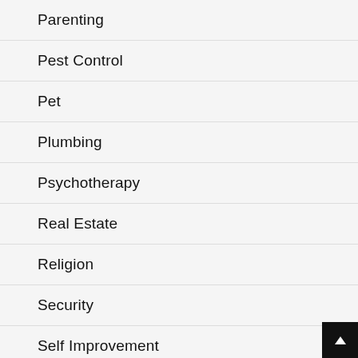Parenting
Pest Control
Pet
Plumbing
Psychotherapy
Real Estate
Religion
Security
Self Improvement
SEO